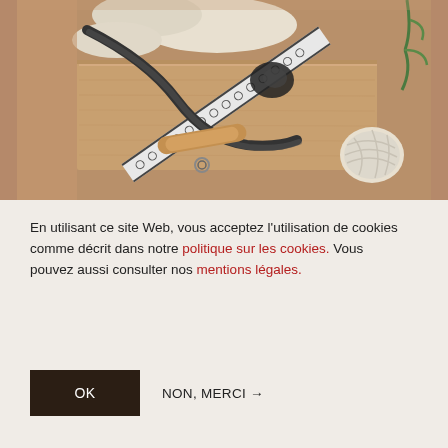[Figure (photo): Photo of craft/weaving materials on a wooden surface: decorative patterned ribbon/tape (black and white woven trim), a wooden shuttle or tool, a yarn ball, and fabric/sheepskin pieces laid on a wooden board.]
En utilisant ce site Web, vous acceptez l'utilisation de cookies comme décrit dans notre politique sur les cookies. Vous pouvez aussi consulter nos mentions légales.
OK
NON, MERCI →